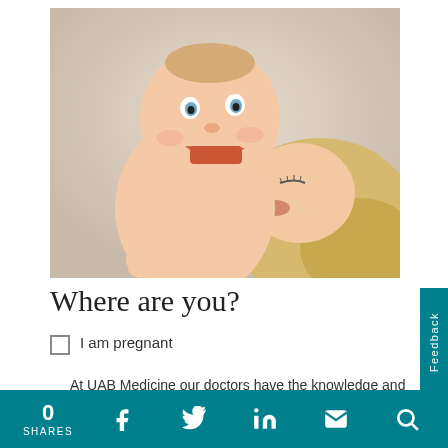[Figure (photo): A smiling baby being kissed on the cheek by a blonde woman (mother). The baby is laughing and looking at the camera. Warm, light neutral background.]
Where are you?
I am pregnant
At UAB Medicine our doctors have the knowledge and